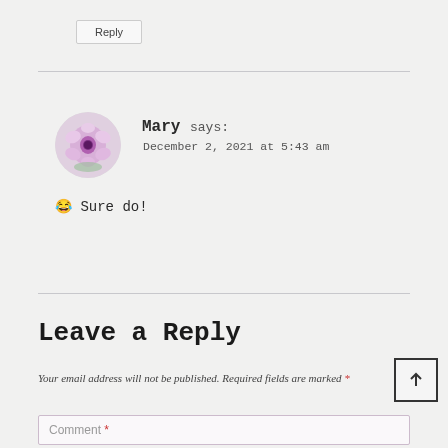Reply (button)
Mary says: December 2, 2021 at 5:43 am
😂 Sure do!
Reply (button)
Leave a Reply
Your email address will not be published. Required fields are marked *
Comment *